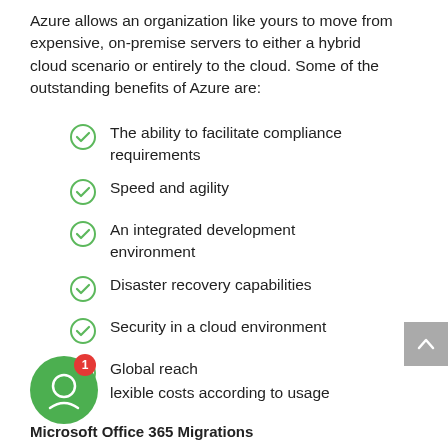Azure allows an organization like yours to move from expensive, on-premise servers to either a hybrid cloud scenario or entirely to the cloud. Some of the outstanding benefits of Azure are:
The ability to facilitate compliance requirements
Speed and agility
An integrated development environment
Disaster recovery capabilities
Security in a cloud environment
Global reach
Flexible costs according to usage
Microsoft Office 365 Migrations